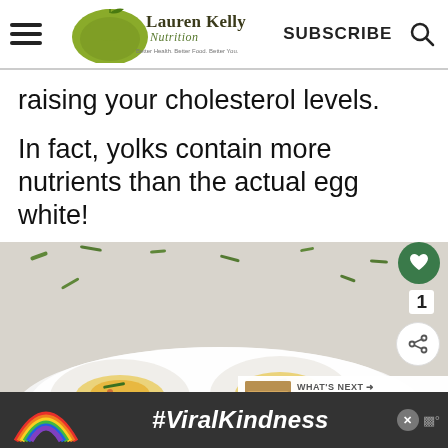Lauren Kelly Nutrition — SUBSCRIBE
raising your cholesterol levels.
In fact, yolks contain more nutrients than the actual egg white!
[Figure (photo): Close-up photo of deviled eggs garnished with chopped chives, in a white bowl on a light surface, with 'What's Next: 30 Healthy and Creative Eg...' overlay]
[Figure (infographic): Bottom advertisement bar with rainbow illustration and '#ViralKindness' text on dark background]